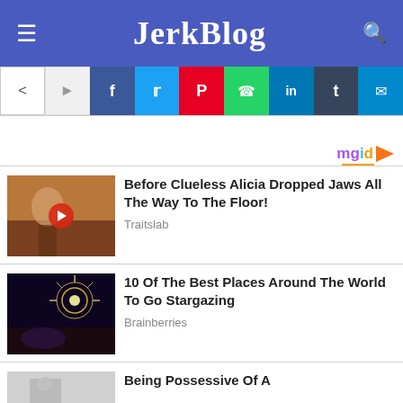JerkBlog
[Figure (screenshot): Social share bar with icons: share, arrow, Facebook, Twitter, Pinterest, WhatsApp, LinkedIn, Tumblr, Telegram]
[Figure (logo): mgid logo with orange play arrow]
[Figure (photo): Thumbnail of a woman in desert with video play button]
Before Clueless Alicia Dropped Jaws All The Way To The Floor!
Traitslab
[Figure (photo): Thumbnail of couple near fireworks at night]
10 Of The Best Places Around The World To Go Stargazing
Brainberries
[Figure (photo): Thumbnail partially visible, black and white]
Being Possessive Of A